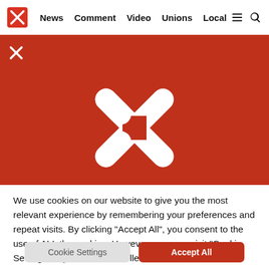News  Comment  Video  Unions  Local
[Figure (logo): Red banner with white crossed tools/scissors logo — news website header strip]
[Figure (logo): Large red banner with white crossed tools/scissors logo centered]
We use cookies on our website to give you the most relevant experience by remembering your preferences and repeat visits. By clicking “Accept All”, you consent to the use of ALL the cookies. However, you may visit "Cookie Settings" to provide a controlled consent.
Cookie Settings
Accept All